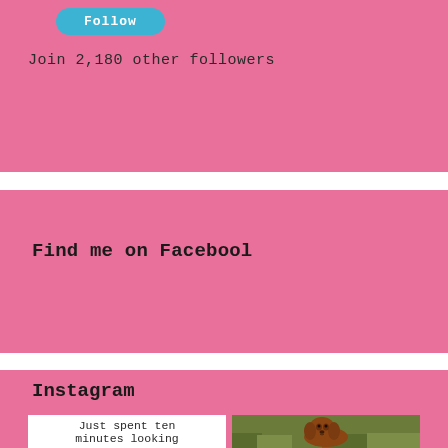[Figure (other): Blue Follow button on pink background]
Join 2,180 other followers
Find me on Facebool
Instagram
Just spent ten minutes looking
[Figure (photo): Photo of a brown dog sitting in green grass]